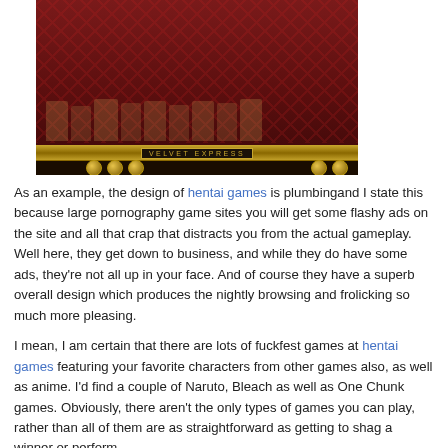[Figure (screenshot): Screenshot of a hentai/adult game called 'Velvet Express' showing animated figures on a dark red background with a golden bar at the bottom labeled 'VELVET EXPRESS']
As an example, the design of hentai games is plumbingand I state this because large pornography game sites you will get some flashy ads on the site and all that crap that distracts you from the actual gameplay. Well here, they get down to business, and while they do have some ads, they're not all up in your face. And of course they have a superb overall design which produces the nightly browsing and frolicking so much more pleasing.
I mean, I am certain that there are lots of fuckfest games at hentai games featuring your favorite characters from other games also, as well as anime. I'd find a couple of Naruto, Bleach as well as One Chunk games. Obviously, there aren't the only types of games you can play, rather than all of them are as straightforward as getting to shag a winner or perform.
When you view on the other side, there's a listing of different hentai games categories you may choose, and every class features a ton of games that are suitable. As an instance, if you would rather play those games where you get to meet and drill a wonder, then browse that category instead. You also have categories loyal to other games, Disney, role play, rape, incest and all that shit.